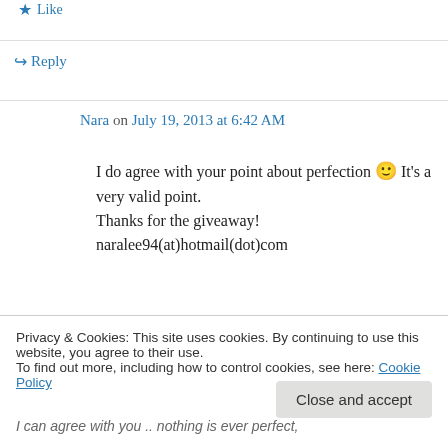★ Like
↪ Reply
Nara on July 19, 2013 at 6:42 AM
I do agree with your point about perfection 🙂 It's a very valid point.
Thanks for the giveaway!
naralee94(at)hotmail(dot)com
★ Like
↪ Reply (partial)
Privacy & Cookies: This site uses cookies. By continuing to use this website, you agree to their use.
To find out more, including how to control cookies, see here: Cookie Policy
Close and accept
I can agree with you .. nothing is ever perfect,